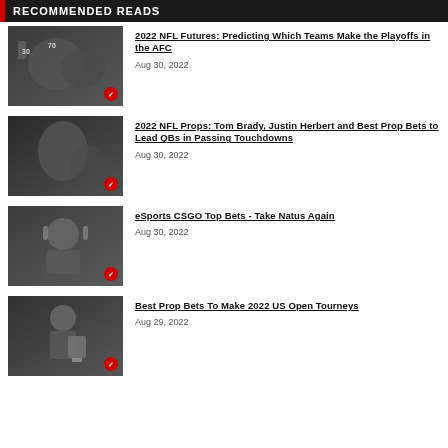RECOMMENDED READS
2022 NFL Futures: Predicting Which Teams Make the Playoffs in the AFC
Aug 30, 2022
2022 NFL Props: Tom Brady, Justin Herbert and Best Prop Bets to Lead QBs in Passing Touchdowns
Aug 30, 2022
eSports CSGO Top Bets - Take Natus Again
Aug 30, 2022
Best Prop Bets To Make 2022 US Open Tourneys
Aug 29, 2022